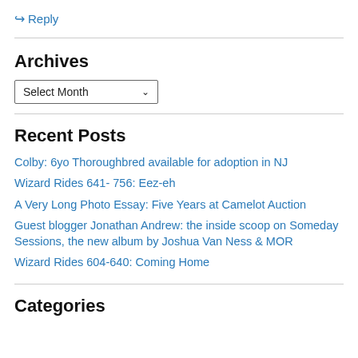↪ Reply
Archives
Select Month
Recent Posts
Colby: 6yo Thoroughbred available for adoption in NJ
Wizard Rides 641- 756: Eez-eh
A Very Long Photo Essay: Five Years at Camelot Auction
Guest blogger Jonathan Andrew: the inside scoop on Someday Sessions, the new album by Joshua Van Ness & MOR
Wizard Rides 604-640: Coming Home
Categories